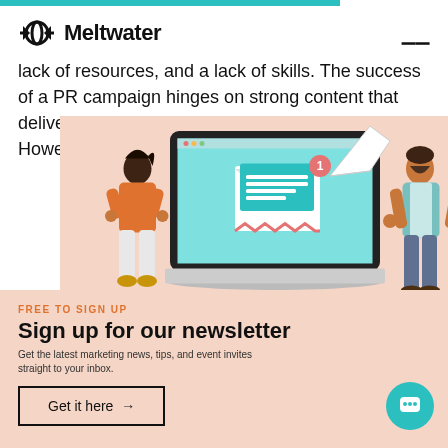Meltwater
lack of resources, and a lack of skills. The success of a PR campaign hinges on strong content that delivers the right message to the right audience. However, analytics and
[Figure (illustration): Newsletter signup promotional illustration with two illustrated people flanking a laptop showing an email envelope with notification badge, on a pink/salmon background]
FREE TO SIGN UP
Sign up for our newsletter
Get the latest marketing news, tips, and event invites straight to your inbox.
Get it here →
people no longer trust regular news sources. However, press releases may be the exception